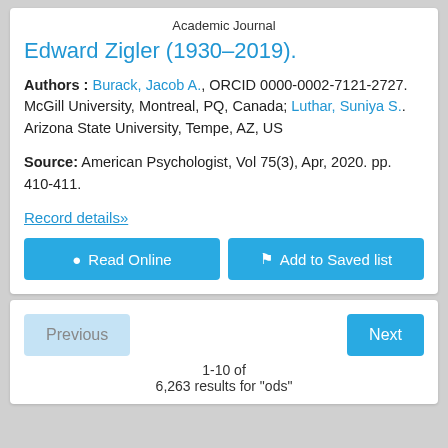Academic Journal
Edward Zigler (1930–2019).
Authors : Burack, Jacob A., ORCID 0000-0002-7121-2727. McGill University, Montreal, PQ, Canada; Luthar, Suniya S.. Arizona State University, Tempe, AZ, US
Source: American Psychologist, Vol 75(3), Apr, 2020. pp. 410-411.
Record details»
Read Online
Add to Saved list
Previous
Next
1-10 of
6,263 results for "ods"